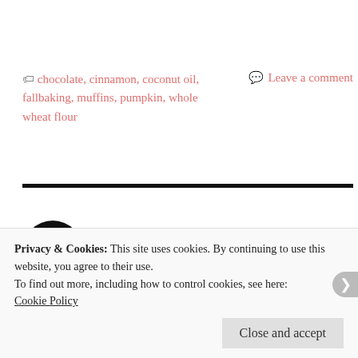chocolate, cinnamon, coconut oil, fallbaking, muffins, pumpkin, whole wheat flour
Leave a comment
Pumpkin-Oat-Squares
posted in healthy treats
Privacy & Cookies: This site uses cookies. By continuing to use this website, you agree to their use.
To find out more, including how to control cookies, see here:
Cookie Policy
Close and accept